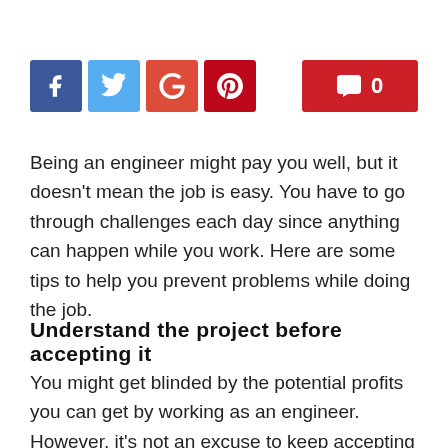[Figure (other): Social media share buttons (Facebook, Twitter, Google+, Pinterest) and a comment count button showing 0]
Being an engineer might pay you well, but it doesn't mean the job is easy. You have to go through challenges each day since anything can happen while you work. Here are some tips to help you prevent problems while doing the job.
Understand the project before accepting it
You might get blinded by the potential profits you can get by working as an engineer. However, it's not an excuse to keep accepting projects. You should learn to say no if you think the project is beyond your